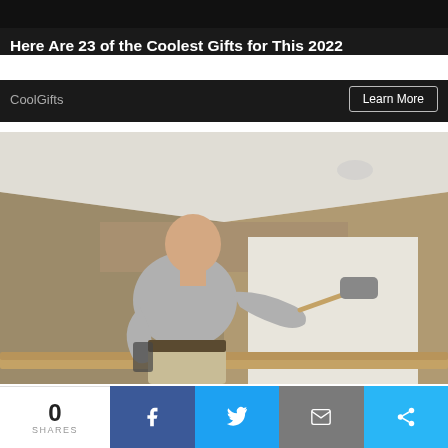Here Are 23 of the Coolest Gifts for This 2022
CoolGifts
[Figure (photo): A bald man in a grey t-shirt painting a wall white with a paint roller in what appears to be a stairwell or hallway with tan/beige walls.]
0 SHARES